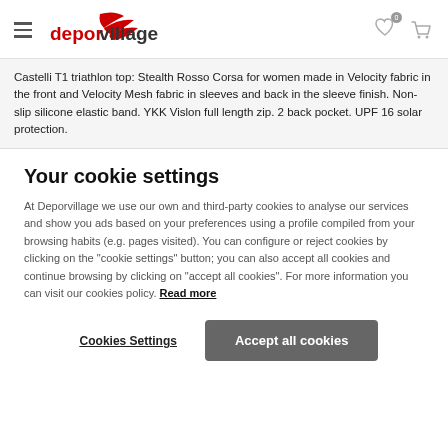deporvillage header with hamburger menu, logo, heart icon (0), and cart icon
Castelli T1 triathlon top: Stealth Rosso Corsa for women made in Velocity fabric in the front and Velocity Mesh fabric in sleeves and back in the sleeve finish. Non-slip silicone elastic band. YKK Vislon full length zip. 2 back pocket. UPF 16 solar protection.
Your cookie settings
At Deporvillage we use our own and third-party cookies to analyse our services and show you ads based on your preferences using a profile compiled from your browsing habits (e.g. pages visited). You can configure or reject cookies by clicking on the "cookie settings" button; you can also accept all cookies and continue browsing by clicking on "accept all cookies". For more information you can visit our cookies policy. Read more